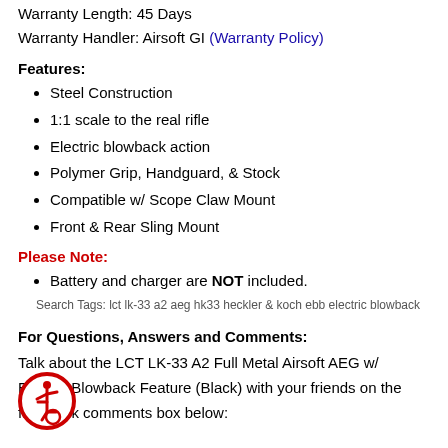Warranty Length: 45 Days
Warranty Handler: Airsoft GI (Warranty Policy)
Features:
Steel Construction
1:1 scale to the real rifle
Electric blowback action
Polymer Grip, Handguard, & Stock
Compatible w/ Scope Claw Mount
Front & Rear Sling Mount
Please Note:
Battery and charger are NOT included.
Search Tags: lct lk-33 a2 aeg hk33 heckler & koch ebb electric blowback
For Questions, Answers and Comments:
Talk about the LCT LK-33 A2 Full Metal Airsoft AEG w/ Electric Blowback Feature (Black) with your friends on the facebook comments box below:
[Figure (illustration): Accessibility icon: person in wheelchair inside a red circle with red border]